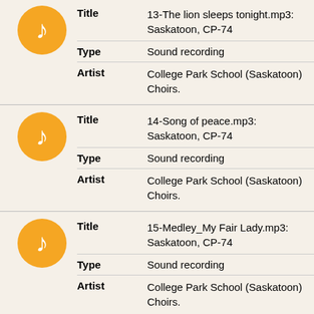|  | Field | Value |
| --- | --- | --- |
| [music icon] | Title | 13-The lion sleeps tonight.mp3: Saskatoon, CP-74 |
|  | Type | Sound recording |
|  | Artist | College Park School (Saskatoon) Choirs. |
|  | Field | Value |
| --- | --- | --- |
| [music icon] | Title | 14-Song of peace.mp3: Saskatoon, CP-74 |
|  | Type | Sound recording |
|  | Artist | College Park School (Saskatoon) Choirs. |
|  | Field | Value |
| --- | --- | --- |
| [music icon] | Title | 15-Medley_My Fair Lady.mp3: Saskatoon, CP-74 |
|  | Type | Sound recording |
|  | Artist | College Park School (Saskatoon) Choirs. |